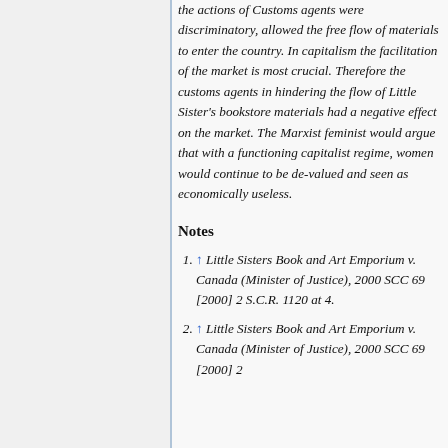the actions of Customs agents were discriminatory, allowed the free flow of materials to enter the country. In capitalism the facilitation of the market is most crucial. Therefore the customs agents in hindering the flow of Little Sister's bookstore materials had a negative effect on the market. The Marxist feminist would argue that with a functioning capitalist regime, women would continue to be de-valued and seen as economically useless.
Notes
↑ Little Sisters Book and Art Emporium v. Canada (Minister of Justice), 2000 SCC 69 [2000] 2 S.C.R. 1120 at 4.
↑ Little Sisters Book and Art Emporium v. Canada (Minister of Justice), 2000 SCC 69 [2000] 2